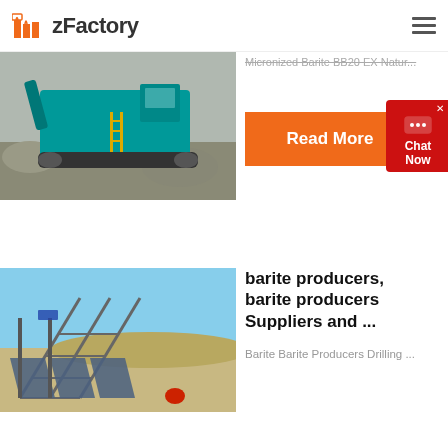zFactory
[Figure (photo): Industrial crusher/mining machine (teal/green) operating at a quarry site with rocky terrain in background]
Micronized Barite BB20 EX Natur...
Read More
Chat Now
[Figure (photo): Outdoor industrial conveyor belt structure in desert/arid terrain with clear blue sky]
barite producers, barite producers Suppliers and ...
Barite Barite Producers Drilling ...
Read More